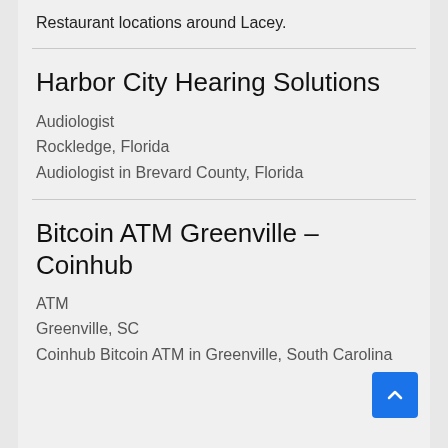Restaurant locations around Lacey.
Harbor City Hearing Solutions
Audiologist
Rockledge, Florida
Audiologist in Brevard County, Florida
Bitcoin ATM Greenville – Coinhub
ATM
Greenville, SC
Coinhub Bitcoin ATM in Greenville, South Carolina